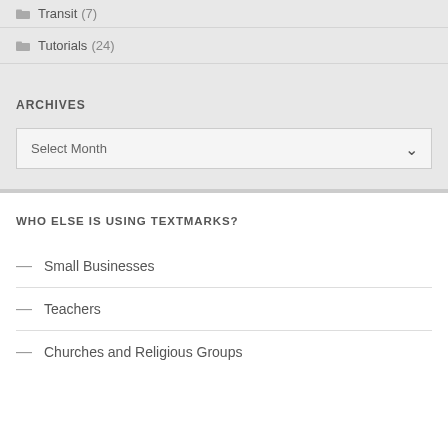Transit (7)
Tutorials (24)
ARCHIVES
Select Month
WHO ELSE IS USING TEXTMARKS?
Small Businesses
Teachers
Churches and Religious Groups